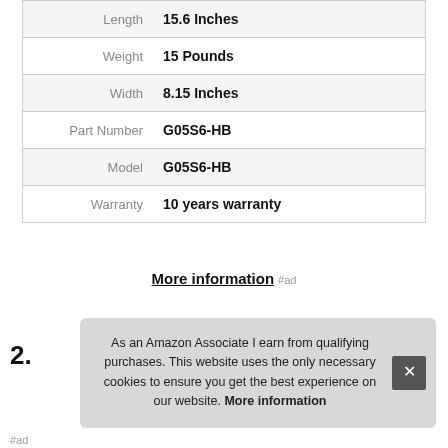| Attribute | Value |
| --- | --- |
| Length | 15.6 Inches |
| Weight | 15 Pounds |
| Width | 8.15 Inches |
| Part Number | G05S6-HB |
| Model | G05S6-HB |
| Warranty | 10 years warranty |
More information #ad
2.
As an Amazon Associate I earn from qualifying purchases. This website uses the only necessary cookies to ensure you get the best experience on our website. More information
#ad